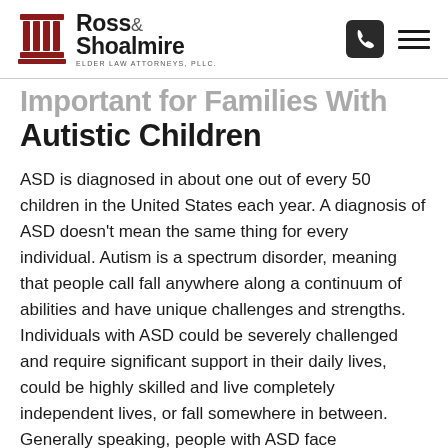Ross & Shoalmire — Elder Law Attorneys, PLLC
Important for Families with Autistic Children
ASD is diagnosed in about one out of every 50 children in the United States each year. A diagnosis of ASD doesn't mean the same thing for every individual. Autism is a spectrum disorder, meaning that people call fall anywhere along a continuum of abilities and have unique challenges and strengths. Individuals with ASD could be severely challenged and require significant support in their daily lives, could be highly skilled and live completely independent lives, or fall somewhere in between. Generally speaking, people with ASD face